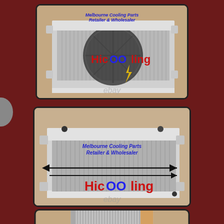[Figure (photo): Aluminum radiator with electric fan attached, showing HiCOOling brand logo and Melbourne Cooling Parts Retailer & Wholesaler watermark. eBay watermark visible.]
[Figure (photo): Aluminum radiator front view with dimension arrow, HiCOOling brand logo, Melbourne Cooling Parts Retailer & Wholesaler watermark. eBay watermark visible.]
[Figure (photo): Close-up of aluminum radiator core fins with HiCOOling brand logo and Melbourne Cooling Parts Retailer & Wholesaler watermark. Arrow visible.]